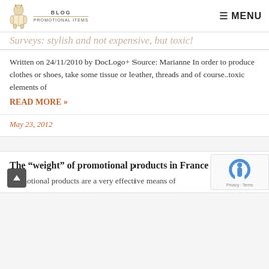BLOG PROMOTIONAL ITEMS — MENU
Surveys: stylish and not expensive, but toxic!
Written on 24/11/2010 by DocLogo+ Source: Marianne In order to produce clothes or shoes, take some tissue or leather, threads and of course..toxic elements of
READ MORE »
May 23, 2012
The “weight” of promotional products in France
Promotional products are a very effective means of